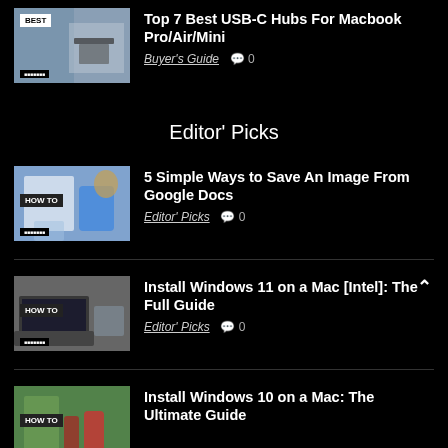[Figure (photo): Thumbnail image for USB-C Hubs article with BEST label badge]
Top 7 Best USB-C Hubs For Macbook Pro/Air/Mini
Buyer's Guide  💬 0
Editor' Picks
[Figure (photo): Thumbnail image for Save Image From Google Docs article with HOW TO label]
5 Simple Ways to Save An Image From Google Docs
Editor' Picks  💬 0
[Figure (photo): Thumbnail image for Install Windows 11 on Mac article with HOW TO label]
Install Windows 11 on a Mac [Intel]: The Full Guide
Editor' Picks  💬 0
[Figure (photo): Thumbnail image for Install Windows 10 on Mac article with HOW TO label]
Install Windows 10 on a Mac: The Ultimate Guide